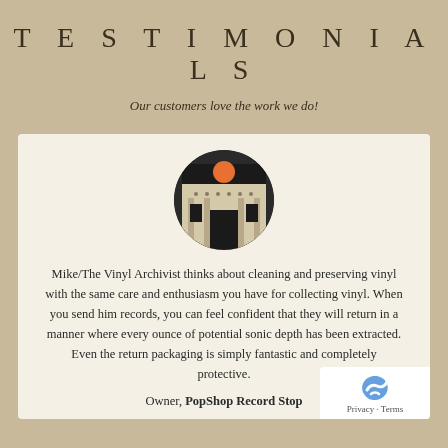TESTIMONIALS
Our customers love the work we do!
[Figure (photo): Circular cropped photo of a record store storefront with an orange circular sign above the entrance.]
Mike/The Vinyl Archivist thinks about cleaning and preserving vinyl with the same care and enthusiasm you have for collecting vinyl. When you send him records, you can feel confident that they will return in a manner where every ounce of potential sonic depth has been extracted. Even the return packaging is simply fantastic and completely protective.
Owner, PopShop Record Stop